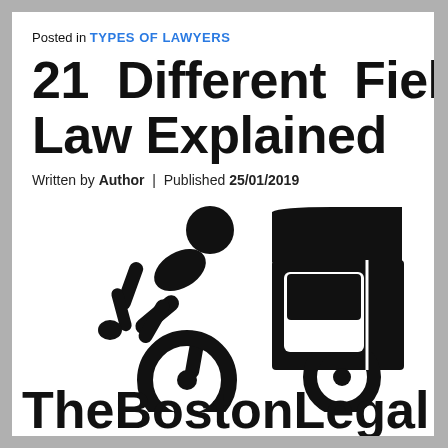Posted in TYPES OF LAWYERS
21 Different Fields Of Law Explained
Written by Author | Published 25/01/2019
[Figure (illustration): Icon-style illustration of a cyclist being struck by a car door, with a large motorcycle wheel visible. Black silhouette style image.]
The Boston Legal